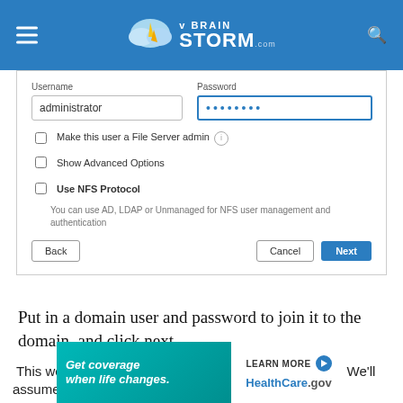vBrainStorm.com
[Figure (screenshot): Web form screenshot showing Username field with 'administrator', Password field with dots, checkboxes for 'Make this user a File Server admin', 'Show Advanced Options', 'Use NFS Protocol', NFS description text, and Back/Cancel/Next buttons]
Put in a domain user and password to join it to the domain, and click next.
This website uses cookies to improve your experience. We'll assume you're ok with this, but you can opt-out if